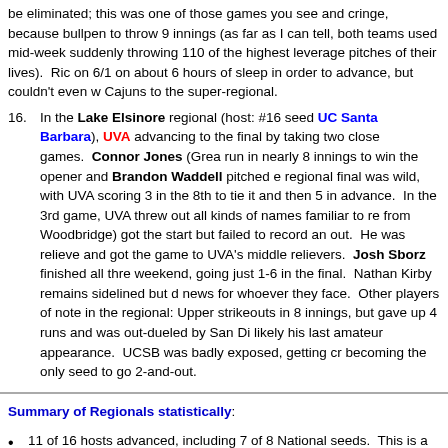be eliminated; this was one of those games you see and cringe, because bullpen to throw 9 innings (as far as I can tell, both teams used mid-week suddenly throwing 110 of the highest leverage pitches of their lives).  Ric on 6/1 on about 6 hours of sleep in order to advance, but couldn't even w Cajuns to the super-regional.
16. In the Lake Elsinore regional (host: #16 seed UC Santa Barbara), UVA advancing to the final by taking two close games.   Connor Jones (Grea run in nearly 8 innings to win the opener and Brandon Waddell pitched e regional final was wild, with UVA scoring 3 in the 8th to tie it and then 5 in advance.  In the 3rd game, UVA threw out all kinds of names familiar to re from Woodbridge) got the start but failed to record an out.  He was relieve and got the game to UVA's middle relievers.  Josh Sborz finished all thre weekend, going just 1-6 in the final.  Nathan Kirby remains sidelined but d news for whoever they face.  Other players of note in the regional: Upper strikeouts in 8 innings, but gave up 4 runs and was out-dueled by San Di likely his last amateur appearance.  UCSB was badly exposed, getting cr becoming the only seed to go 2-and-out.
Summary of Regionals statistically:
11 of 16 hosts advanced, including 7 of 8 National seeds.  This is a far cr seeds early.  This tournament is setup to be much more "chalk" than in ye
5 = number of regionals forced into the "extra" deciding game.  Most of th
10 of the 16 regionals were extended to Monday games, some thanks to